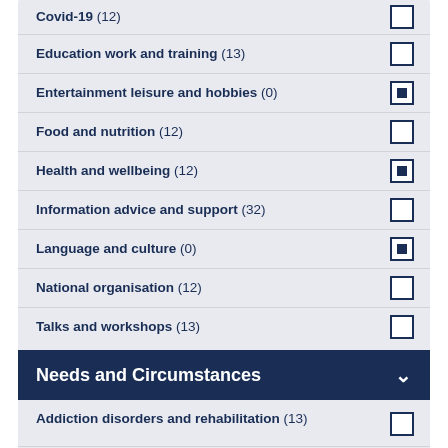Covid-19 (12)
Education work and training (13)
Entertainment leisure and hobbies (0)
Food and nutrition (12)
Health and wellbeing (12)
Information advice and support (32)
Language and culture (0)
National organisation (12)
Talks and workshops (13)
Needs and Circumstances
Addiction disorders and rehabilitation (13)
Care and support (15)
Crisis support (13)